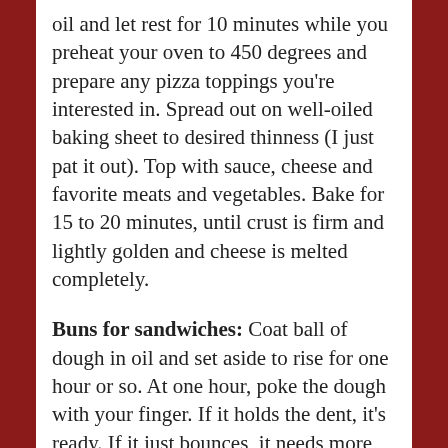oil and let rest for 10 minutes while you preheat your oven to 450 degrees and prepare any pizza toppings you're interested in. Spread out on well-oiled baking sheet to desired thinness (I just pat it out). Top with sauce, cheese and favorite meats and vegetables. Bake for 15 to 20 minutes, until crust is firm and lightly golden and cheese is melted completely.
Buns for sandwiches: Coat ball of dough in oil and set aside to rise for one hour or so. At one hour, poke the dough with your finger. If it holds the dent, it's ready. If it just bounces, it needs more rise time. When it's ready, punch it down. Form into 8-10 balls of dough, and space those out evenly on a baking sheet. Let rise again, 30 to 45 minutes. Bake at 350 for 30 minutes.